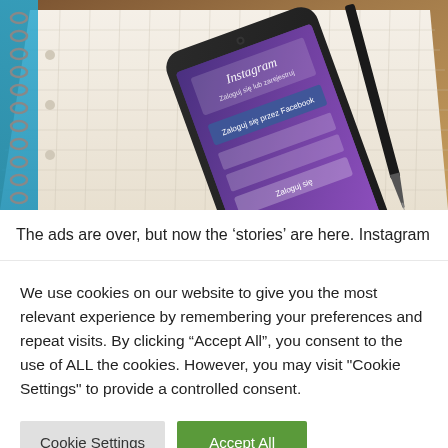[Figure (photo): Photo of a smartphone displaying the Instagram login screen, placed on a spiral-bound notebook with a pen beside it. The phone has a gradient purple/blue screen with the Instagram logo visible. The notebook has graph/grid paper.]
The ads are over, but now the ‘stories’ are here. Instagram
We use cookies on our website to give you the most relevant experience by remembering your preferences and repeat visits. By clicking “Accept All”, you consent to the use of ALL the cookies. However, you may visit "Cookie Settings" to provide a controlled consent.